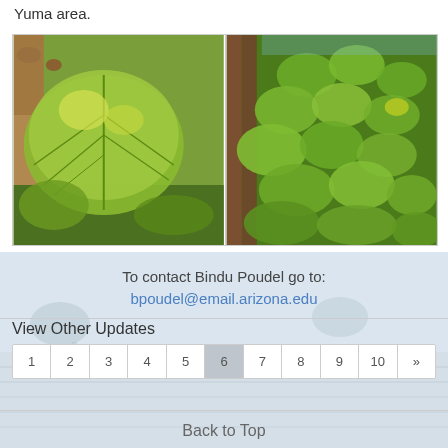Yuma area.
[Figure (photo): Two side-by-side field photos showing crop plants in the Yuma area — left shows large-leafed squash/cucurbit plants with green and yellow leaves, right shows leafy crops in rows]
To contact Bindu Poudel go to:
bpoudel@email.arizona.edu
View Other Updates
1 2 3 4 5 6 7 8 9 10 »
Back to Top